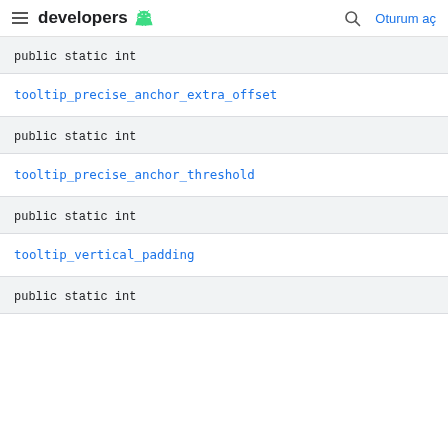developers
public static int
tooltip_precise_anchor_extra_offset
public static int
tooltip_precise_anchor_threshold
public static int
tooltip_vertical_padding
public static int